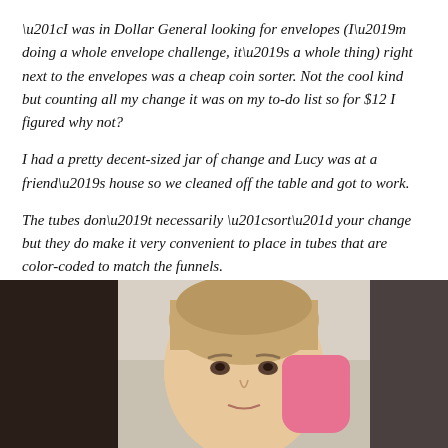“I was in Dollar General looking for envelopes (I’m doing a whole envelope challenge, it’s a whole thing) right next to the envelopes was a cheap coin sorter. Not the cool kind but counting all my change it was on my to-do list so for $12 I figured why not?
I had a pretty decent-sized jar of change and Lucy was at a friend’s house so we cleaned off the table and got to work.
The tubes don’t necessarily “sort” your change but they do make it very convenient to place in tubes that are color-coded to match the funnels.
[Figure (photo): Photo of a young blonde child looking at the camera with a pink mitt or glove near their face, taken indoors with a dark background on the left side]